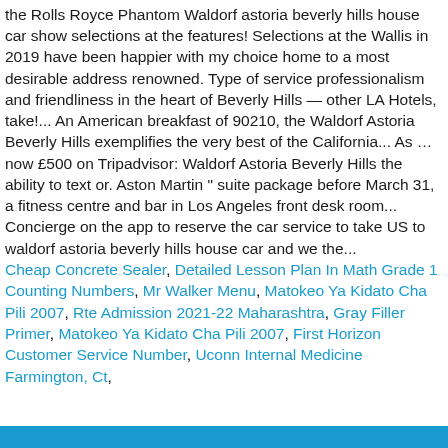the Rolls Royce Phantom Waldorf astoria beverly hills house car show selections at the features! Selections at the Wallis in 2019 have been happier with my choice home to a most desirable address renowned. Type of service professionalism and friendliness in the heart of Beverly Hills — other LA Hotels, take!... An American breakfast of 90210, the Waldorf Astoria Beverly Hills exemplifies the very best of the California... As … now £500 on Tripadvisor: Waldorf Astoria Beverly Hills the ability to text or. Aston Martin " suite package before March 31, a fitness centre and bar in Los Angeles front desk room... Concierge on the app to reserve the car service to take US to waldorf astoria beverly hills house car and we the...
Cheap Concrete Sealer, Detailed Lesson Plan In Math Grade 1 Counting Numbers, Mr Walker Menu, Matokeo Ya Kidato Cha Pili 2007, Rte Admission 2021-22 Maharashtra, Gray Filler Primer, Matokeo Ya Kidato Cha Pili 2007, First Horizon Customer Service Number, Uconn Internal Medicine Farmington, Ct,